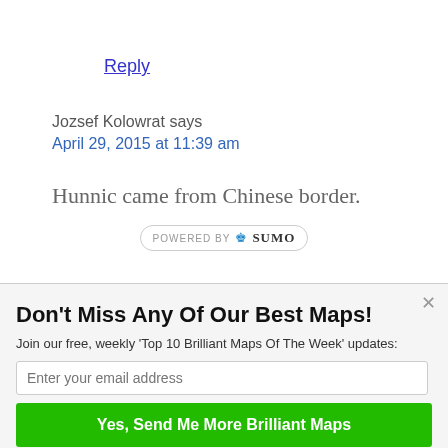Reply
Jozsef Kolowrat says
April 29, 2015 at 11:39 am
Hunnic came from Chinese border.
[Figure (logo): POWERED BY SUMO logo badge with crown icon]
Don't Miss Any Of Our Best Maps!
Join our free, weekly 'Top 10 Brilliant Maps Of The Week' updates:
Enter your email address
Yes, Send Me More Brilliant Maps